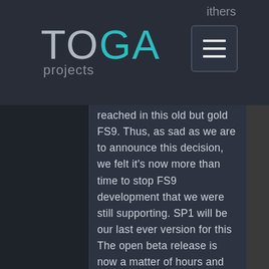TOGA projects
reached in this old but gold FS9. Thus, as sad as we are to announce this decision, we felt it's now more than time to stop FS9 development that we were still supporting. SP1 will be our last ever version for this simulator. When SP1 will be fully stable and officially released in its official version, FS9 will be separated from other simulators, it will get its own interface and will be available separately. Technical support for this version will still be assured during the upcoming year.
The open beta release is now a matter of hours and you will be able to get the